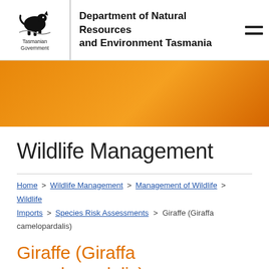Department of Natural Resources and Environment Tasmania
[Figure (logo): Tasmanian Government logo with stylized wildlife emblem and text 'Tasmanian Government']
Wildlife Management
Home > Wildlife Management > Management of Wildlife > Wildlife Imports > Species Risk Assessments > Giraffe (Giraffa camelopardalis)
Giraffe (Giraffa camelopardalis)
The Giraffe, (Giraffa camelopardalis) is the world's tallest land